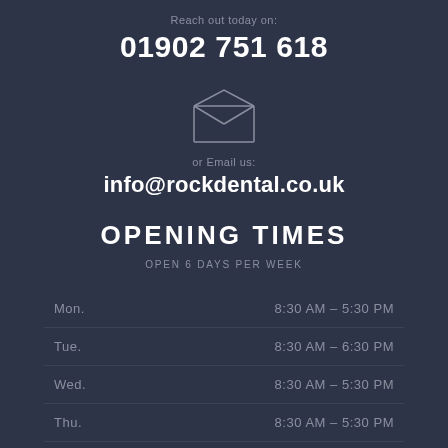Reach out today on:
01902 751 618
[Figure (illustration): Envelope icon (open envelope with letter inside, thin line art style, white on dark background)]
or Email us:
info@rockdental.co.uk
OPENING TIMES
OPEN 6 DAYS PER WEEK
| Day | Hours |
| --- | --- |
| Mon. | 8:30 AM – 5:30 PM |
| Tue. | 8:30 AM – 6:30 PM |
| Wed. | 8:30 AM – 5:30 PM |
| Thu. | 8:30 AM – 5:30 PM |